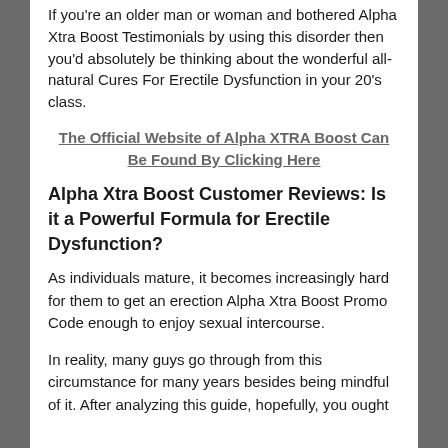If you're an older man or woman and bothered Alpha Xtra Boost Testimonials by using this disorder then you'd absolutely be thinking about the wonderful all-natural Cures For Erectile Dysfunction in your 20's class.
The Official Website of Alpha XTRA Boost Can Be Found By Clicking Here
Alpha Xtra Boost Customer Reviews: Is it a Powerful Formula for Erectile Dysfunction?
As individuals mature, it becomes increasingly hard for them to get an erection Alpha Xtra Boost Promo Code enough to enjoy sexual intercourse.
In reality, many guys go through from this circumstance for many years besides being mindful of it. After analyzing this guide, hopefully, you ought